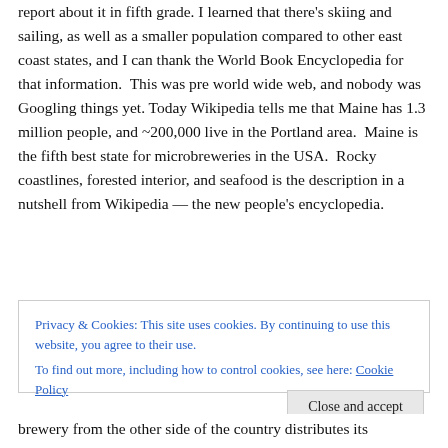report about it in fifth grade. I learned that there's skiing and sailing, as well as a smaller population compared to other east coast states, and I can thank the World Book Encyclopedia for that information. This was pre world wide web, and nobody was Googling things yet. Today Wikipedia tells me that Maine has 1.3 million people, and ~200,000 live in the Portland area. Maine is the fifth best state for microbreweries in the USA. Rocky coastlines, forested interior, and seafood is the description in a nutshell from Wikipedia — the new people's encyclopedia.
Privacy & Cookies: This site uses cookies. By continuing to use this website, you agree to their use. To find out more, including how to control cookies, see here: Cookie Policy
Close and accept
brewery from the other side of the country distributes its